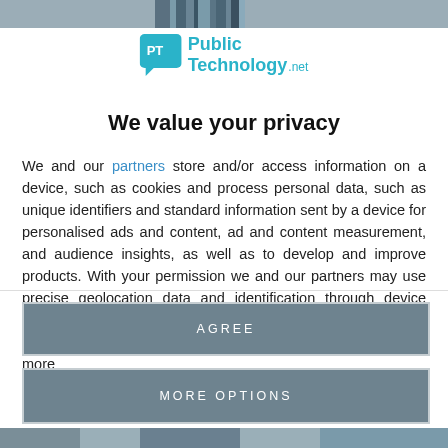[Figure (screenshot): Top banner image strip showing a partial view of a building/urban scene]
[Figure (logo): PublicTechnology.net logo with PT speech bubble icon in teal/blue and text 'Public Technology.net']
We value your privacy
We and our partners store and/or access information on a device, such as cookies and process personal data, such as unique identifiers and standard information sent by a device for personalised ads and content, ad and content measurement, and audience insights, as well as to develop and improve products. With your permission we and our partners may use precise geolocation data and identification through device scanning. You may click to consent to our and our partners' processing as described above. Alternatively you may access more detailed information and...
AGREE
MORE OPTIONS
[Figure (screenshot): Bottom image strip showing a partial urban/street scene]